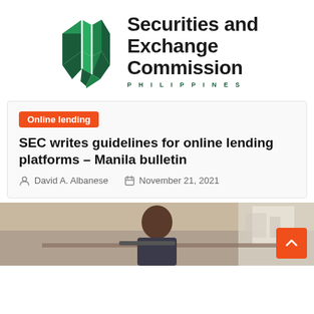[Figure (logo): Securities and Exchange Commission Philippines logo with green diamond/shield shaped emblem and bold text]
Online lending
SEC writes guidelines for online lending platforms – Manila bulletin
David A. Albanese   November 21, 2021
[Figure (photo): Photo of a man sitting at a desk looking at documents or a laptop, in a home or office setting]